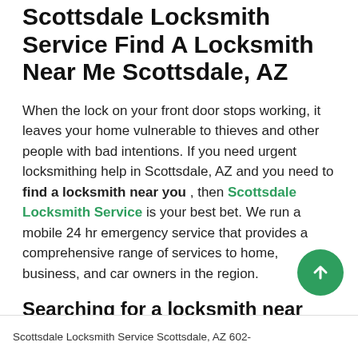Scottsdale Locksmith Service Find A Locksmith Near Me Scottsdale, AZ
When the lock on your front door stops working, it leaves your home vulnerable to thieves and other people with bad intentions. If you need urgent locksmithing help in Scottsdale, AZ and you need to find a locksmith near you , then Scottsdale Locksmith Service is your best bet. We run a mobile 24 hr emergency service that provides a comprehensive range of services to home, business, and car owners in the region.
Searching for a locksmith near you?
Did you just enter the term 'find a locksmith near me ' into a search engine? If you're a resident of Scottsdale or nearby regions, then Scottsdale Locksmith Service's locksmiths are always the ones nearest to you. We main
Scottsdale Locksmith Service Scottsdale, AZ 602-